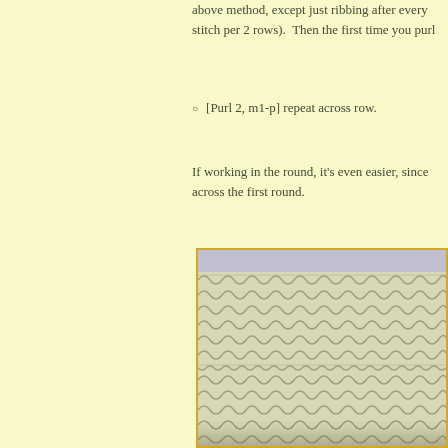above method, except just ribbing after every stitch per 2 rows).  Then the first time you purl
[Purl 2, m1-p] repeat across row.
If working in the round, it's even easier, since across the first round.
[Figure (photo): Close-up photograph of a knitted fabric swatch in sage/olive green yarn showing knit stitch texture, displayed on a white background, with a golden yellow border around the photo.]